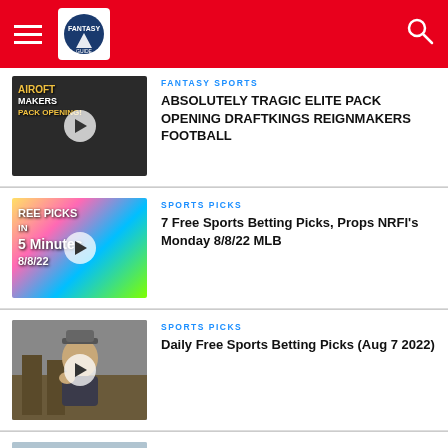Fantasy Sports Guide (logo) / Search
FANTASY SPORTS
ABSOLUTELY TRAGIC ELITE PACK OPENING DRAFTKINGS REIGNMAKERS FOOTBALL
SPORTS PICKS
7 Free Sports Betting Picks, Props NRFI's Monday 8/8/22 MLB
SPORTS PICKS
Daily Free Sports Betting Picks (Aug 7 2022)
SPORTS PICKS
Pittsburgh Pirates vs Arizona